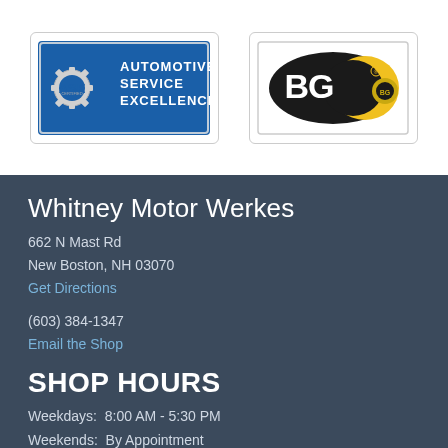[Figure (logo): ASE Automotive Service Excellence certified logo — blue rectangle with gear icon and white text]
[Figure (logo): BG logo — black oval with yellow crescent and BG text in white with registered trademark symbol]
Whitney Motor Werkes
662 N Mast Rd
New Boston, NH 03070
Get Directions
(603) 384-1347
Email the Shop
SHOP HOURS
Weekdays:  8:00 AM - 5:30 PM
Weekends:  By Appointment